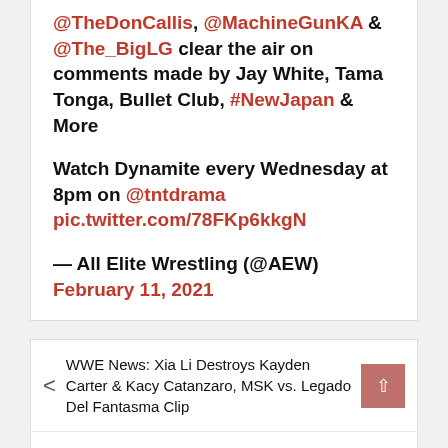@TheDonCallis, @MachineGunKA & @The_BigLG clear the air on comments made by Jay White, Tama Tonga, Bullet Club, #NewJapan & More
Watch Dynamite every Wednesday at 8pm on @tntdrama pic.twitter.com/78FKp6kkgN
— All Elite Wrestling (@AEW) February 11, 2021
WWE News: Xia Li Destroys Kayden Carter & Kacy Catanzaro, MSK vs. Legado Del Fantasma Clip
AEW Dynamite Results (2/10): Jon Moxley & Kenta,